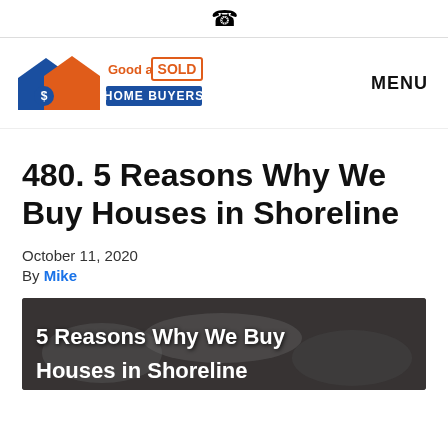📞
[Figure (logo): Good as Sold Home Buyers logo with blue house icon and orange/blue text]
MENU
480. 5 Reasons Why We Buy Houses in Shoreline
October 11, 2020
By Mike
[Figure (photo): Hero image showing hands working, overlaid with text '5 Reasons Why We Buy Houses in Shoreline']